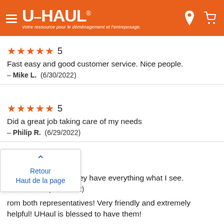U-HAUL — Votre ressource pour le déménagement et l'entreposage.
★★★★★ 5
Fast easy and good customer service. Nice people.
— Mike L. (6/30/2022)
★★★★★ 5
Did a great job taking care of my needs
— Philip R. (6/29/2022)
★★★★★ 5
No question which they have everything what I see.
— Robert D. (6/29/2022)
Retour
Haut de la page
…rom both representatives! Very friendly and extremely helpful! UHaul is blessed to have them!